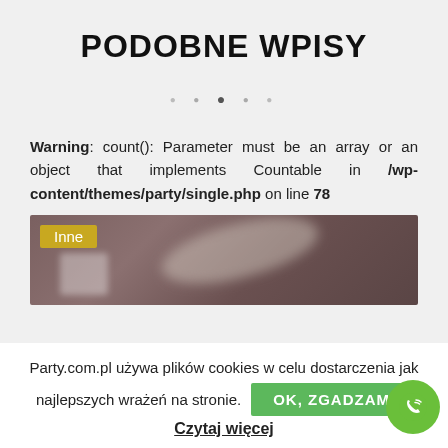PODOBNE WPISY
[Figure (other): Carousel dots navigation indicators]
Warning: count(): Parameter must be an array or an object that implements Countable in /wp-content/themes/party/single.php on line 78
[Figure (photo): Blurred dark brownish image with an 'Inne' category badge in gold/yellow color in the top-left corner]
Party.com.pl używa plików cookies w celu dostarczenia jak najlepszych wrażeń na stronie.
OK, ZGADZAM
Czytaj więcej